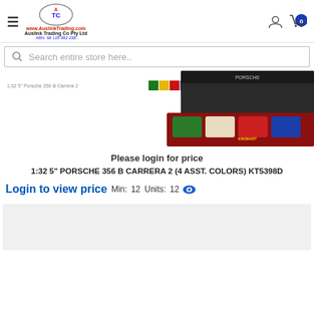www.AuslinkTrading.com Auslink Trading Co Pty Ltd ABN: 68 125 982 238
Search entire store here..
[Figure (photo): Product photo showing 1:32 5 inch Porsche 356 B Carrera 2 toy cars in a display box with 4 assorted colors (green, yellow, red, blue). Label shows color swatches.]
Please login for price
1:32 5" PORSCHE 356 B CARRERA 2 (4 ASST. COLORS) KT5398D
Login to view price  Min:  12  Units:  12